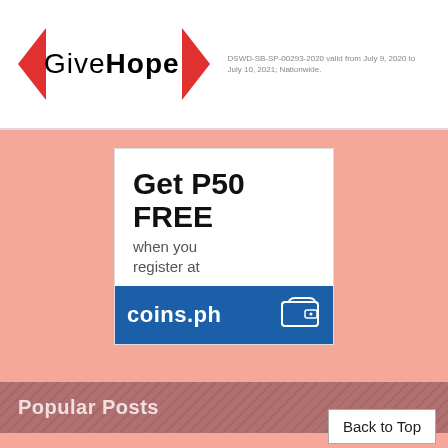[Figure (logo): GiveHope logo with red triangles on left and right of the text]
DSWD-SB-SP-00293-2020 valid from July 9, 2020 to July 10, 2021; Nationwide.
[Figure (infographic): Coins.ph advertisement: Get P50 FREE when you register at coins.ph, with wallet icon]
Popular Posts
Win a Free Web Hosting
Plagiarized Poem
No Globe Signal
Free IQ Test
First Ever Adsense Dollar
Back to Top